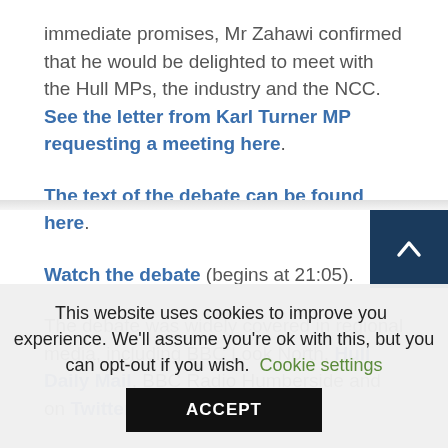immediate promises, Mr Zahawi confirmed that he would be delighted to meet with the Hull MPs, the industry and the NCC. See the letter from Karl Turner MP requesting a meeting here.
The text of the debate can be found here.
Watch the debate (begins at 21:05).
The debate was widely covered in regional media, including BBC Look North, Hull Daily Mail, BBC Radio Humberside and on Twitter on 15 and 16 June.
This website uses cookies to improve your experience. We'll assume you're ok with this, but you can opt-out if you wish. Cookie settings ACCEPT